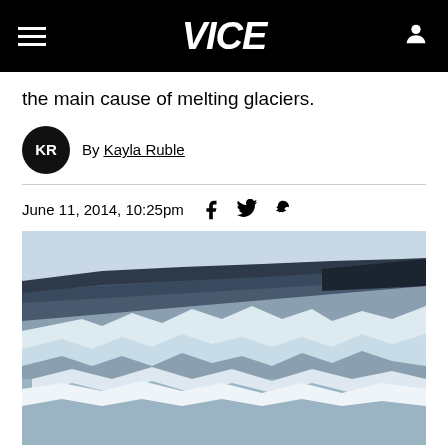VICE
the main cause of melting glaciers.
By Kayla Ruble
June 11, 2014, 10:25pm
[Figure (photo): Aerial photograph of a glacier edge showing cracked and broken ice formations in shades of white and blue-grey against a pale icy background.]